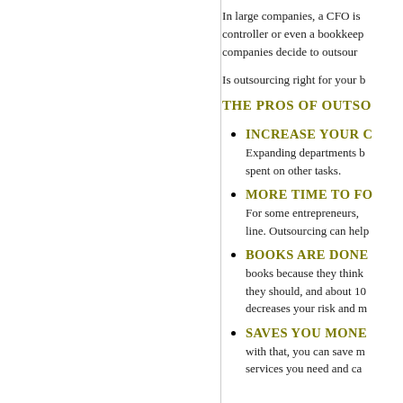In large companies, a CFO is controller or even a bookkeeper. companies decide to outsour
Is outsourcing right for your b
THE PROS OF OUTSO
INCREASE YOUR C
Expanding departments b spent on other tasks.
MORE TIME TO FO
For some entrepreneurs, line. Outsourcing can help
BOOKS ARE DONE
books because they think they should, and about 10 decreases your risk and m
SAVES YOU MONE
with that, you can save m services you need and ca